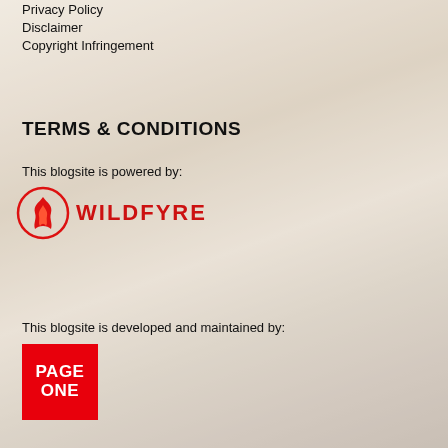Privacy Policy
Disclaimer
Copyright Infringement
TERMS & CONDITIONS
This blogsite is powered by:
[Figure (logo): WILDFYRE logo — red flame icon with red bold text WILDFYRE]
This blogsite is developed and maintained by:
[Figure (logo): PAGE ONE logo — white bold text PAGE ONE on red square background]